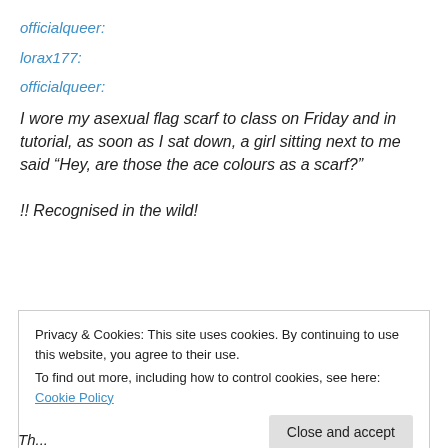officialqueer:
lorax177:
officialqueer:
I wore my asexual flag scarf to class on Friday and in tutorial, as soon as I sat down, a girl sitting next to me said “Hey, are those the ace colours as a scarf?”

!! Recognised in the wild!
Privacy & Cookies: This site uses cookies. By continuing to use this website, you agree to their use.
To find out more, including how to control cookies, see here: Cookie Policy
Close and accept